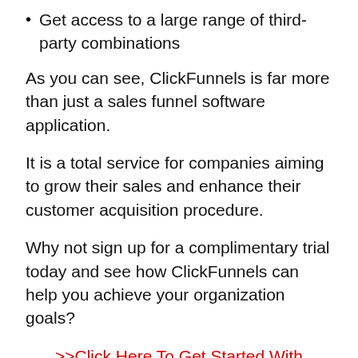Get access to a large range of third-party combinations
As you can see, ClickFunnels is far more than just a sales funnel software application.
It is a total service for companies aiming to grow their sales and enhance their customer acquisition procedure.
Why not sign up for a complimentary trial today and see how ClickFunnels can help you achieve your organization goals?
>>Click Here To Get Started With ClickFunnels 14-Days FREE Trial<<
Is ClickFunnels Still